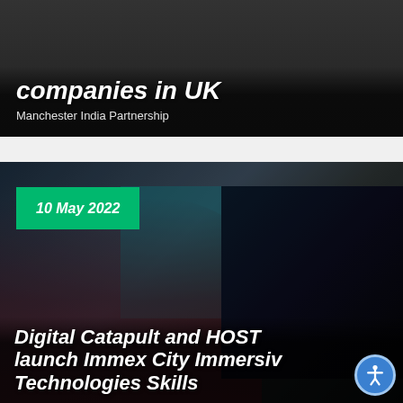[Figure (photo): Dark background photo card showing people on mobile phones, with bold italic white headline text about companies in UK and subtitle 'Manchester India Partnership']
companies in UK
Manchester India Partnership
[Figure (photo): Photo of a person wearing a VR headset (HTC Vive) in a technology lab setting, with computer monitors displaying maps. Date badge '10 May 2022' in green overlay. Title overlay: 'Digital Catapult and HOST launch Immex City Immersive Technologies Skills']
10 May 2022
Digital Catapult and HOST launch Immex City Immersive Technologies Skills